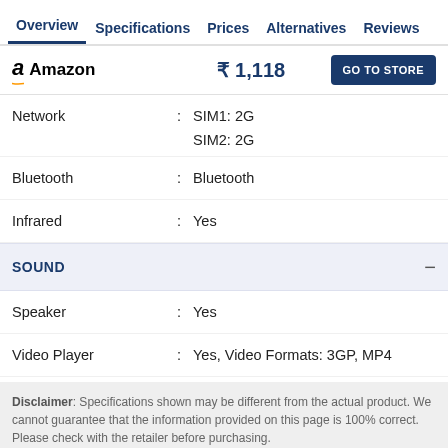Overview  Specifications  Prices  Alternatives  Reviews
Amazon  ₹ 1,118  GO TO STORE
| Feature |  | Value |
| --- | --- | --- |
| Network | : | SIM1: 2G
SIM2: 2G |
| Bluetooth | : | Bluetooth |
| Infrared | : | Yes |
SOUND
| Feature |  | Value |
| --- | --- | --- |
| Speaker | : | Yes |
| Video Player | : | Yes, Video Formats: 3GP, MP4 |
Disclaimer: Specifications shown may be different from the actual product. We cannot guarantee that the information provided on this page is 100% correct. Please check with the retailer before purchasing.